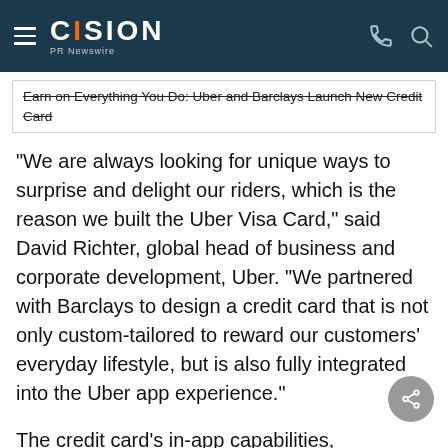CISION PR Newswire
Earn on Everything You Do: Uber and Barclays Launch New Credit Card
"We are always looking for unique ways to surprise and delight our riders, which is the reason we built the Uber Visa Card," said David Richter, global head of business and corporate development, Uber. "We partnered with Barclays to design a credit card that is not only custom-tailored to reward our customers' everyday lifestyle, but is also fully integrated into the Uber app experience."
The credit card's in-app capabilities, comprised of industry-leading mobile technology, deliver a